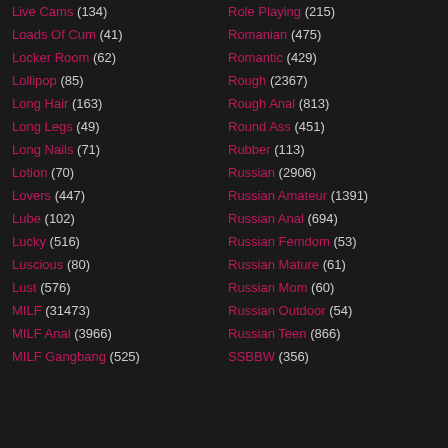Live Cams (134)
Loads Of Cum (41)
Locker Room (62)
Lollipop (85)
Long Hair (163)
Long Legs (49)
Long Nails (71)
Lotion (70)
Lovers (447)
Lube (102)
Lucky (516)
Luscious (80)
Lust (576)
MILF (31473)
MILF Anal (3966)
MILF Gangbang (525)
Role Playing (215)
Romanian (475)
Romantic (429)
Rough (2367)
Rough Anal (813)
Round Ass (451)
Rubber (113)
Russian (2906)
Russian Amateur (1391)
Russian Anal (694)
Russian Femdom (53)
Russian Mature (61)
Russian Mom (60)
Russian Outdoor (54)
Russian Teen (866)
SSBBW (356)